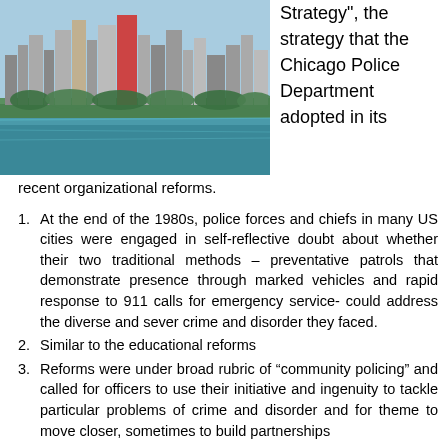[Figure (photo): Aerial photo of Chicago city skyline viewed from Lake Michigan, showing skyscrapers, trees, and water in the foreground.]
Strategy", the strategy that the Chicago Police Department adopted in its recent organizational reforms.
At the end of the 1980s, police forces and chiefs in many US cities were engaged in self-reflective doubt about whether their two traditional methods – preventative patrols that demonstrate presence through marked vehicles and rapid response to 911 calls for emergency service- could address the diverse and sever crime and disorder they faced.
Similar to the educational reforms
Reforms were under broad rubric of “community policing” and called for officers to use their initiative and ingenuity to tackle particular problems of crime and disorder and for theme to move closer, sometimes to build partnerships